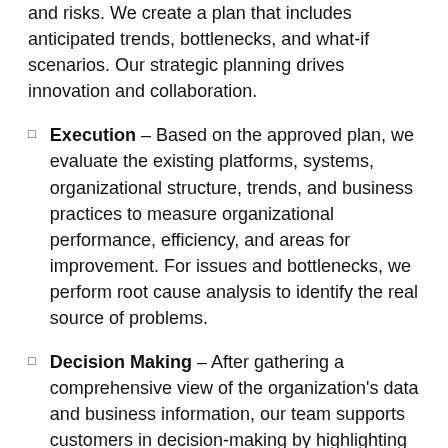and risks. We create a plan that includes anticipated trends, bottlenecks, and what-if scenarios. Our strategic planning drives innovation and collaboration.
Execution – Based on the approved plan, we evaluate the existing platforms, systems, organizational structure, trends, and business practices to measure organizational performance, efficiency, and areas for improvement. For issues and bottlenecks, we perform root cause analysis to identify the real source of problems.
Decision Making – After gathering a comprehensive view of the organization's data and business information, our team supports customers in decision-making by highlighting growth opportunities and potential problems.
Optimization – We optimize the business processes, organizational operations, and